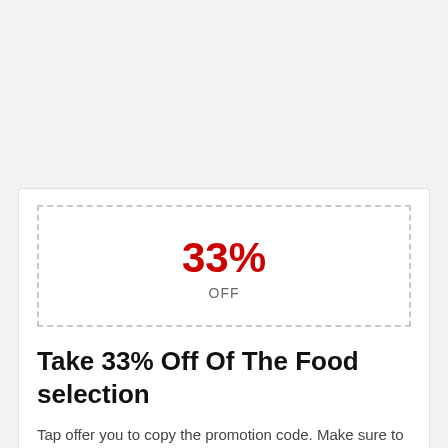[Figure (infographic): Coupon box with dashed border showing 33% OFF discount]
Take 33% Off Of The Food selection
Tap offer you to copy the promotion code. Make sure to m…
› 7 times used